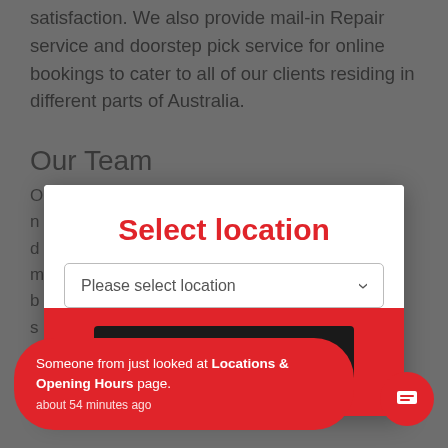satisfaction. We also provide mail-in Repair service and doorstep pick service for online bookings to cater to all of our clients residing in different parts of Australia.
Our Team
Our team consists of highly skilled technicians...
[Figure (screenshot): Modal dialog overlay with red header text 'Select location', a dropdown selector labeled 'Please select location', a red background section with a black 'Cancel' button.]
Someone from just looked at Locations & Opening Hours page. about 54 minutes ago